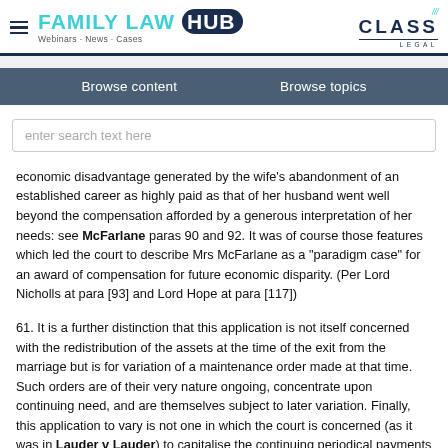FAMILY LAW HUB — Webinars · News · Cases | CLASS LEGAL
Browse content | Browse topics
enter search text here
economic disadvantage generated by the wife's abandonment of an established career as highly paid as that of her husband went well beyond the compensation afforded by a generous interpretation of her needs: see McFarlane paras 90 and 92. It was of course those features which led the court to describe Mrs McFarlane as a "paradigm case" for an award of compensation for future economic disparity. (Per Lord Nicholls at para [93] and Lord Hope at para [117])
61. It is a further distinction that this application is not itself concerned with the redistribution of the assets at the time of the exit from the marriage but is for variation of a maintenance order made at that time. Such orders are of their very nature ongoing, concentrate upon continuing need, and are themselves subject to later variation. Finally, this application to vary is not one in which the court is concerned (as it was in Lauder v Lauder) to capitalise the continuing periodical payments as varied so as to achieve a clean